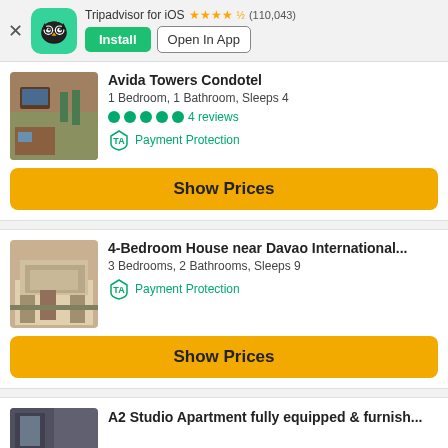Tripadvisor for iOS ★★★★½ (110,043) | Install | Open In App
Avida Towers Condotel
1 Bedroom, 1 Bathroom, Sleeps 4
●●●●● 4 reviews
Payment Protection
Show Prices
4-Bedroom House near Davao International...
3 Bedrooms, 2 Bathrooms, Sleeps 9
Payment Protection
Show Prices
A2 Studio Apartment fully equipped & furnish...